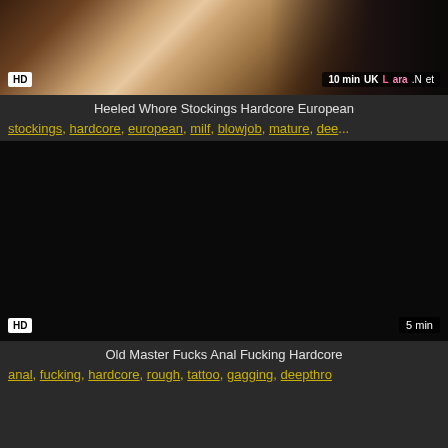[Figure (screenshot): Video thumbnail showing partial legs/boots, HD badge bottom-left, 10 min badge and UKLara.Net watermark bottom-right]
Heeled Whore Stockings Hardcore European
stockings, hardcore, european, milf, blowjob, mature, dee...
[Figure (screenshot): Black video thumbnail, HD badge bottom-left, 5 min badge bottom-right]
Old Master Fucks Anal Fucking Hardcore
anal, fucking, hardcore, rough, tattoo, gagging, deepthro...